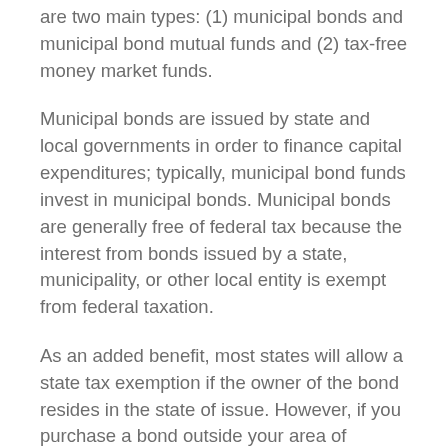are two main types: (1) municipal bonds and municipal bond mutual funds and (2) tax-free money market funds.
Municipal bonds are issued by state and local governments in order to finance capital expenditures; typically, municipal bond funds invest in municipal bonds. Municipal bonds are generally free of federal tax because the interest from bonds issued by a state, municipality, or other local entity is exempt from federal taxation.
As an added benefit, most states will allow a state tax exemption if the owner of the bond resides in the state of issue. However, if you purchase a bond outside your area of residency, it may be subject to both state and local taxes.
If you buy shares of a municipal bond fund that invests in bonds issued by other states, you will have to pay income tax. In addition, while some municipal